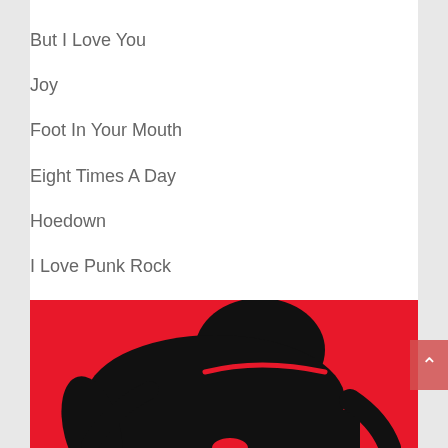But I Love You
Joy
Foot In Your Mouth
Eight Times A Day
Hoedown
I Love Punk Rock
Ragnarok
[Figure (illustration): A black silhouette of a person with head bowed down, set against a bright red background. The figure appears to be wearing a jacket. A small red scroll-to-top button with an upward chevron arrow is visible in the lower right corner.]